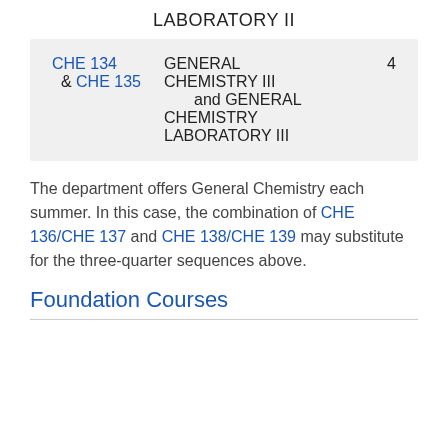LABORATORY II
| Course | Name | Credits |
| --- | --- | --- |
| CHE 134 & CHE 135 | GENERAL CHEMISTRY III and GENERAL CHEMISTRY LABORATORY III | 4 |
The department offers General Chemistry each summer. In this case, the combination of CHE 136/CHE 137 and CHE 138/CHE 139 may substitute for the three-quarter sequences above.
Foundation Courses